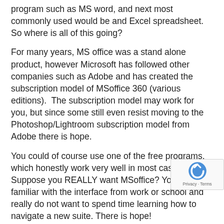program such as MS word, and next most commonly used would be and Excel spreadsheet. So where is all of this going?
For many years, MS office was a stand alone product, however Microsoft has followed other companies such as Adobe and has created the subscription model of MSoffice 360 (various editions).  The subscription model may work for you, but since some still even resist moving to the Photoshop/Lightroom subscription model from Adobe there is hope.
You could of course use one of the free programs, which honestly work very well in most cases. Suppose you REALLY want MSoffice? You are familiar with the interface from work or school and really do not want to spend time learning how to navigate a new suite. There is hope!
Mr. Key  Shop is a highly trusted site where one purchase fairly recent versions of non subscripti versions of MSOffice at very reasonable prices. MSoffice 2019 is only $80.00 with older versions